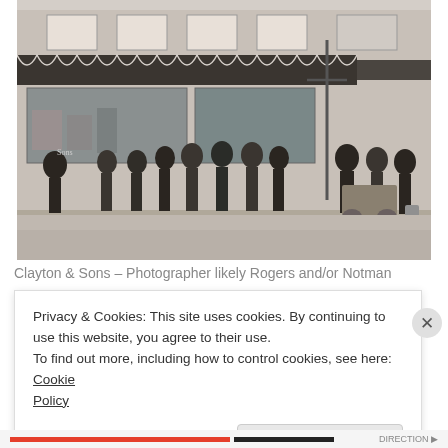[Figure (photo): Historical black and white photograph of a storefront labeled 'Clayton & Sons'. Multiple men are standing in front of the store. The building has an awning and large windows. The scene appears to be from the late 19th century.]
Clayton & Sons – Photographer likely Rogers and/or Notman
Privacy & Cookies: This site uses cookies. By continuing to use this website, you agree to their use.
To find out more, including how to control cookies, see here: Cookie Policy
Close and accept